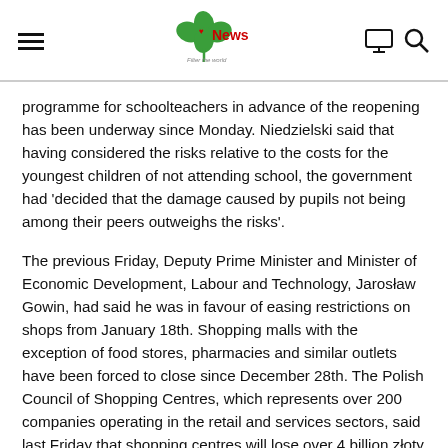≡  News  🖥  🔍
programme for schoolteachers in advance of the reopening has been underway since Monday. Niedzielski said that having considered the risks relative to the costs for the youngest children of not attending school, the government had 'decided that the damage caused by pupils not being among their peers outweighs the risks'.
The previous Friday, Deputy Prime Minister and Minister of Economic Development, Labour and Technology, Jarosław Gowin, had said he was in favour of easing restrictions on shops from January 18th. Shopping malls with the exception of food stores, pharmacies and similar outlets have been forced to close since December 28th. The Polish Council of Shopping Centres, which represents over 200 companies operating in the retail and services sectors, said last Friday that shopping centres will lose over 4 billion złoty in revenue as a result of the third lockdown. In a statement it appealed to the government 'to open shopping malls as soon as possible and to provide a level of financial support to all